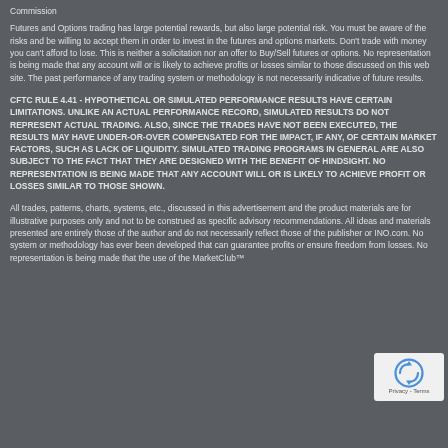Commission
Futures and Options trading has large potential rewards, but also large potential risk. You must be aware of the risks and be willing to accept them in order to invest in the futures and options markets. Don't trade with money you can't afford to lose. This is neither a solicitation nor an offer to Buy/Sell futures or options. No representation is being made that any account will or is likely to achieve profits or losses similar to those discussed on this web site. The past performance of any trading system or methodology is not necessarily indicative of future results.
CFTC RULE 4.41 - HYPOTHETICAL OR SIMULATED PERFORMANCE RESULTS HAVE CERTAIN LIMITATIONS. UNLIKE AN ACTUAL PERFORMANCE RECORD, SIMULATED RESULTS DO NOT REPRESENT ACTUAL TRADING. ALSO, SINCE THE TRADES HAVE NOT BEEN EXECUTED, THE RESULTS MAY HAVE UNDER-OR-OVER COMPENSATED FOR THE IMPACT, IF ANY, OF CERTAIN MARKET FACTORS, SUCH AS LACK OF LIQUIDITY. SIMULATED TRADING PROGRAMS IN GENERAL ARE ALSO SUBJECT TO THE FACT THAT THEY ARE DESIGNED WITH THE BENEFIT OF HINDSIGHT. NO REPRESENTATION IS BEING MADE THAT ANY ACCOUNT WILL OR IS LIKELY TO ACHIEVE PROFIT OR LOSSES SIMILAR TO THOSE SHOWN.
All trades, patterns, charts, systems, etc., discussed in this advertisement and the product materials are for illustrative purposes only and not to be construed as specific advisory recommendations. All ideas and materials presented are entirely those of the author and do not necessarily reflect those of the publisher or INO.com. No system or methodology has ever been developed that can guarantee profits or ensure freedom from losses. No representation is being made that the use of the MarketClub™
[Figure (other): reCAPTCHA badge with rotating arrows icon and Privacy - Terms text]